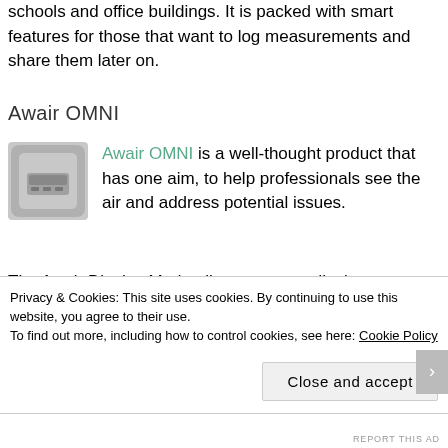schools and office buildings. It is packed with smart features for those that want to log measurements and share them later on.
Awair OMNI
[Figure (photo): Photo of the Awair OMNI device — a small square smart air quality monitor with a dark grey body and a small display screen]
Awair OMNI is a well-thought product that has one aim, to help professionals see the air and address potential issues. The Awair Display Mode allows users to display any information from the monitor to a big screen inside a bar, restaurant, office, school, etc. It features up to 8 hour battery and logs data on-
Privacy & Cookies: This site uses cookies. By continuing to use this website, you agree to their use.
To find out more, including how to control cookies, see here: Cookie Policy
Close and accept